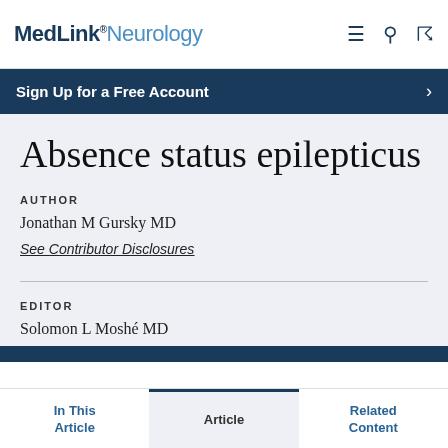MedLink® Neurology
Sign Up for a Free Account
Absence status epilepticus
AUTHOR
Jonathan M Gursky MD
See Contributor Disclosures
EDITOR
Solomon L Moshé MD
In This Article  Article  Related Content